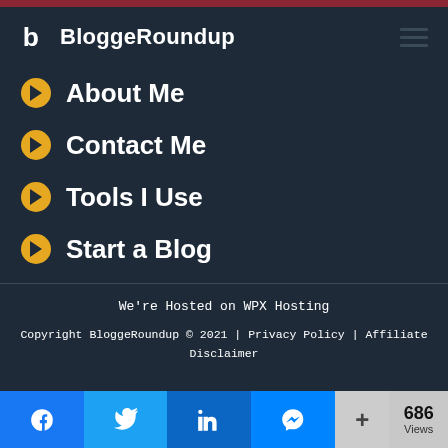BloggeRoundup
About Me
Contact Me
Tools I Use
Start a Blog
We're Hosted on WPX Hosting
Copyright BloggeRoundup © 2021 | Privacy Policy | Affiliate Disclaimer
[Figure (infographic): Social sharing bar with Facebook, Twitter, LinkedIn, Messenger buttons and a +/Views counter showing 686 Views]